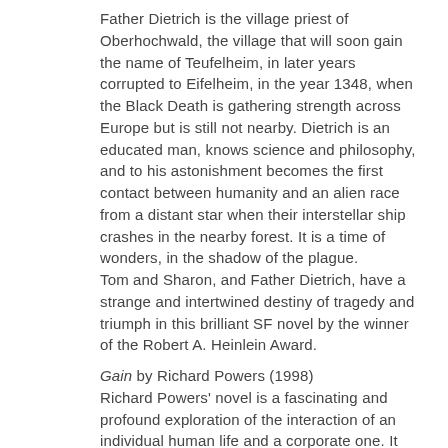Father Dietrich is the village priest of Oberhochwald, the village that will soon gain the name of Teufelheim, in later years corrupted to Eifelheim, in the year 1348, when the Black Death is gathering strength across Europe but is still not nearby. Dietrich is an educated man, knows science and philosophy, and to his astonishment becomes the first contact between humanity and an alien race from a distant star when their interstellar ship crashes in the nearby forest. It is a time of wonders, in the shadow of the plague.
Tom and Sharon, and Father Dietrich, have a strange and intertwined destiny of tragedy and triumph in this brilliant SF novel by the winner of the Robert A. Heinlein Award.
Gain by Richard Powers (1998)
Richard Powers' novel is a fascinating and profound exploration of the interaction of an individual human life and a corporate one. It tells two s... first that of an